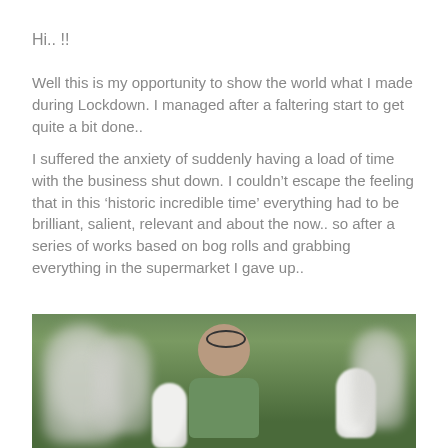Hi.. !!
Well this is my opportunity to show the world what I made during Lockdown. I managed after a faltering start to get quite a bit done..
I suffered the anxiety of suddenly having a load of time with the business shut down. I couldn't escape the feeling that in this 'historic incredible time' everything had to be brilliant, salient, relevant and about the now.. so after a series of works based on bog rolls and grabbing everything in the supermarket I gave up..
[Figure (photo): A bald man with round glasses pushed up on his forehead and a grey beard, wearing a green t-shirt, surrounded by small white clay or plaster figurine sculptures and green foliage in the background]